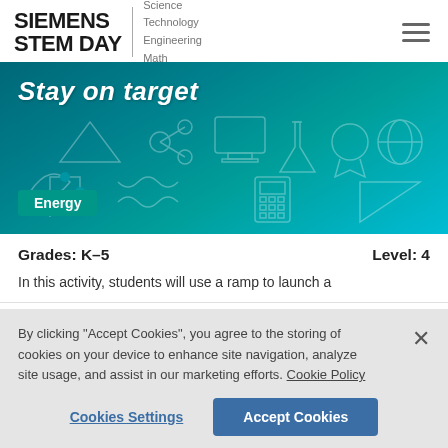SIEMENS STEM DAY | Science Technology Engineering Math
[Figure (screenshot): Siemens STEM Day banner with teal gradient background showing STEM-related line art icons and the text 'Stay on target' in white italic, with an 'Energy' category badge in teal green]
Grades: K–5    Level: 4
In this activity, students will use a ramp to launch a
By clicking "Accept Cookies", you agree to the storing of cookies on your device to enhance site navigation, analyze site usage, and assist in our marketing efforts. Cookie Policy
Cookies Settings
Accept Cookies